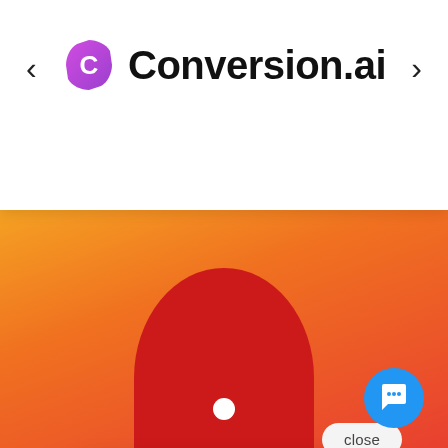[Figure (logo): Conversion.ai logo with purple play-button style 'C' icon and bold black text 'Conversion.ai', with left and right navigation arrows on either side]
[Figure (screenshot): Orange-to-red gradient background with a white chat popup bubble showing a woman avatar and text 'Hi there, have a question? Text us here.', a 'close' pill button, a red circle with white dot (person silhouette), and a blue circular chat icon button in the lower right]